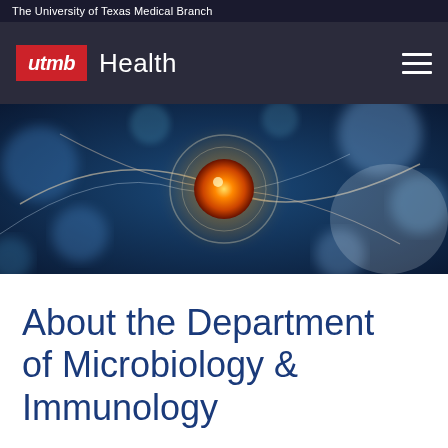The University of Texas Medical Branch
[Figure (logo): UTMB Health logo with red box containing 'utmb' in italic white text and 'Health' in white text beside it, on dark background header with hamburger menu icon]
[Figure (photo): Abstract scientific/medical image showing glowing orange orb with neural network connections and blue bokeh background, representing microbiology or neuroscience]
About the Department of Microbiology & Immunology